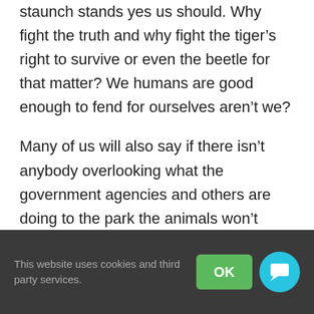staunch stands yes us should. Why fight the truth and why fight the tiger's right to survive or even the beetle for that matter? We humans are good enough to fend for ourselves aren't we?
Many of us will also say if there isn't anybody overlooking what the government agencies and others are doing to the park the animals won't survive the pressure of poaching. Well my answer is lets fight so that everybody is forced to fall in line and do his or her job and yes its our right to see a tiger in the wild and if it means we who live near the park have to take a different route then so be it. to make sure the animals mate without
This website uses cookies and third party services.